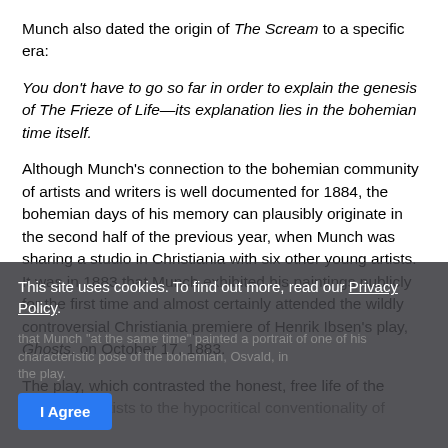Munch also dated the origin of The Scream to a specific era:
You don't have to go so far in order to explain the genesis of The Frieze of Life—its explanation lies in the bohemian time itself.
Although Munch's connection to the bohemian community of artists and writers is well documented for 1884, the bohemian days of his memory can plausibly originate in the second half of the previous year, when Munch was sharing a studio in Christiania with six other young artists. It was in 1883 that Munch exhibited his paintings publicly for the first time and almost certainly attended the wildly controversial Christiania premiere of Henrik Ibsen's play, Ghosts, on October 17, 1883.
The play, which contrasted the honest, free life of the bohemian artists to the hypocritical conventionality of [obscured text] that Munch "at the same time" painted a portrait of one of his [obscured] characteristic pose of the bohemian, Osvald, in the play.
This site uses cookies. To find out more, read our Privacy Policy.
I Agree